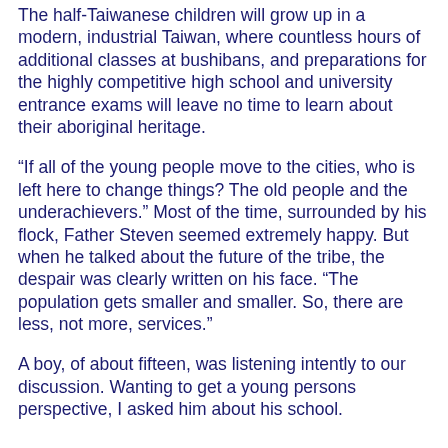The half-Taiwanese children will grow up in a modern, industrial Taiwan, where countless hours of additional classes at bushibans, and preparations for the highly competitive high school and university entrance exams will leave no time to learn about their aboriginal heritage.
“If all of the young people move to the cities, who is left here to change things? The old people and the underachievers.” Most of the time, surrounded by his flock, Father Steven seemed extremely happy. But when he talked about the future of the tribe, the despair was clearly written on his face. “The population gets smaller and smaller. So, there are less, not more, services.”
A boy, of about fifteen, was listening intently to our discussion. Wanting to get a young persons perspective, I asked him about his school.